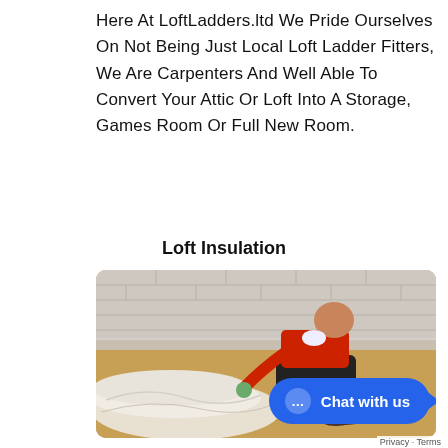Here At LoftLadders.ltd We Pride Ourselves On Not Being Just Local Loft Ladder Fitters, We Are Carpenters And Well Able To Convert Your Attic Or Loft Into A Storage, Games Room Or Full New Room.
Loft Insulation
[Figure (photo): A worker in a red shirt and dark trousers kneeling and installing loft insulation material (white/cream fibreglass roll) in a loft space with white brick walls.]
Privacy · Terms